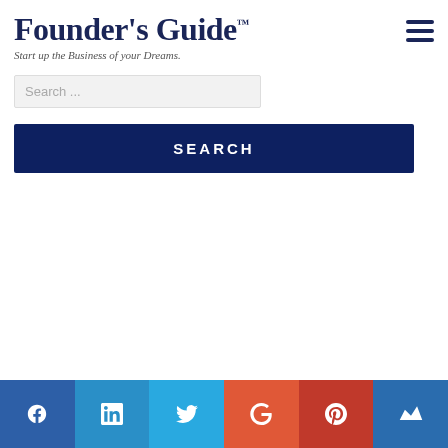Founder's Guide™ — Start up the Business of your Dreams.
Search ...
SEARCH
Social bar: Facebook, LinkedIn, Twitter, Google+, Pinterest, Klout